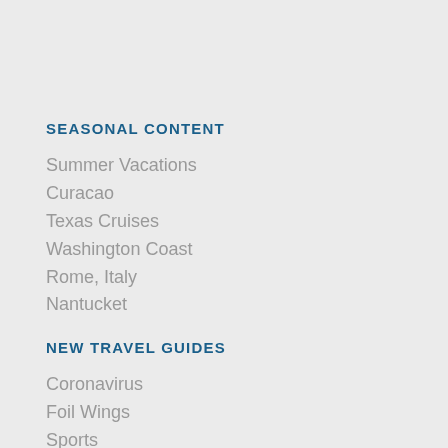SEASONAL CONTENT
Summer Vacations
Curacao
Texas Cruises
Washington Coast
Rome, Italy
Nantucket
NEW TRAVEL GUIDES
Coronavirus
Foil Wings
Sports
Wing Foiling
Dan Taylor